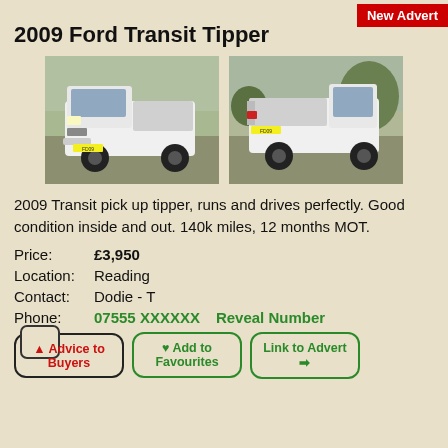New Advert
2009 Ford Transit Tipper
[Figure (photo): Two photos of a white 2009 Ford Transit Tipper truck from front-left and rear-right angles, parked outdoors on grass/gravel.]
2009 Transit pick up tipper, runs and drives perfectly. Good condition inside and out. 140k miles, 12 months MOT.
Price: £3,950
Location: Reading
Contact: Dodie - T
Phone: 07555 XXXXXX   Reveal Number
⚠ Advice to Buyers
♥ Add to Favourites
Link to Advert ➔